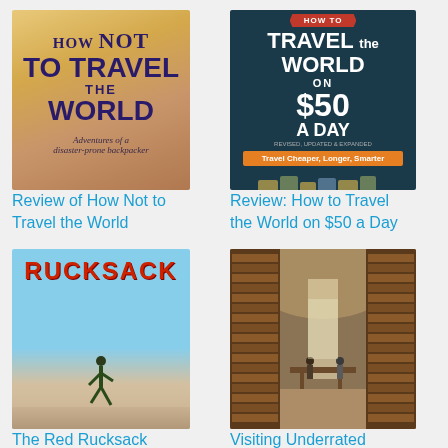[Figure (illustration): Book cover: How Not to Travel the World - Adventures of a disaster-prone backpacker]
[Figure (illustration): Book cover: How to Travel the World on $50 a Day - Travel Cheaper, Longer, Smarter]
Review of How Not to Travel the World
Review: How to Travel the World on $50 a Day
[Figure (photo): Person jumping on a beach with The Red Rucksack book cover backdrop]
[Figure (photo): Interior of a grand historic library in Puebla with long shelves of books and arched ceiling]
The Red Rucksack
Visiting Underrated Puebla